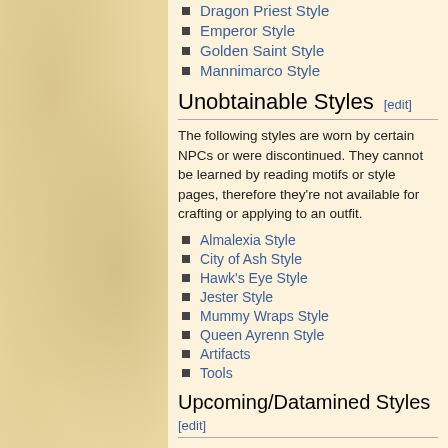Dragon Priest Style
Emperor Style
Golden Saint Style
Mannimarco Style
Unobtainable Styles [edit]
The following styles are worn by certain NPCs or were discontinued. They cannot be learned by reading motifs or style pages, therefore they're not available for crafting or applying to an outfit.
Almalexia Style
City of Ash Style
Hawk's Eye Style
Jester Style
Mummy Wraps Style
Queen Ayrenn Style
Artifacts
Tools
Upcoming/Datamined Styles [edit]